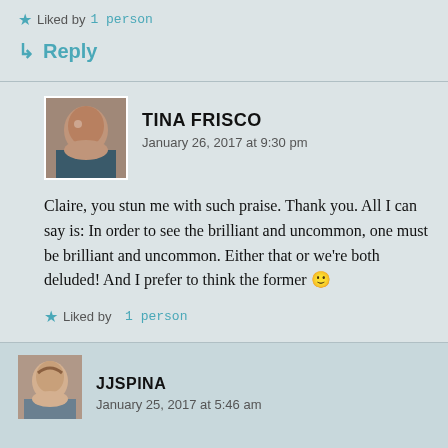★ Liked by 1 person
↳ Reply
TINA FRISCO
January 26, 2017 at 9:30 pm
Claire, you stun me with such praise. Thank you. All I can say is: In order to see the brilliant and uncommon, one must be brilliant and uncommon. Either that or we're both deluded! And I prefer to think the former 🙂
★ Liked by 1 person
JJSPINA
January 25, 2017 at 5:46 am